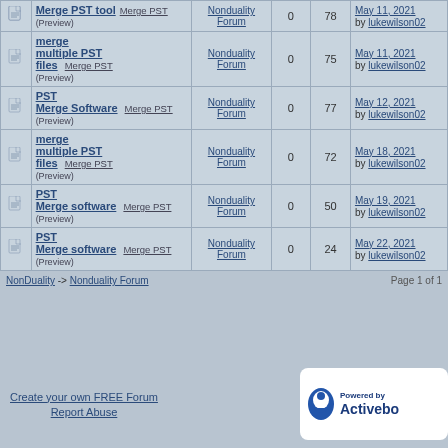|  | Topic | Forum | Replies | Views | Last Post |
| --- | --- | --- | --- | --- | --- |
| [icon] | Merge PST tool (Preview) [Merge PST] | Nonduality Forum | 0 | 78 | May 11, 2021 by lukewilson02 |
| [icon] | merge multiple PST files (Preview) [Merge PST] | Nonduality Forum | 0 | 75 | May 11, 2021 by lukewilson02 |
| [icon] | PST Merge Software (Preview) [Merge PST] | Nonduality Forum | 0 | 77 | May 12, 2021 by lukewilson02 |
| [icon] | merge multiple PST files (Preview) [Merge PST] | Nonduality Forum | 0 | 72 | May 18, 2021 by lukewilson02 |
| [icon] | PST Merge software (Preview) [Merge PST] | Nonduality Forum | 0 | 50 | May 19, 2021 by lukewilson02 |
| [icon] | PST Merge software (Preview) [Merge PST] | Nonduality Forum | 0 | 24 | May 22, 2021 by lukewilson02 |
NonDuality -> Nonduality Forum    Page 1 of 1
Create your own FREE Forum
Report Abuse